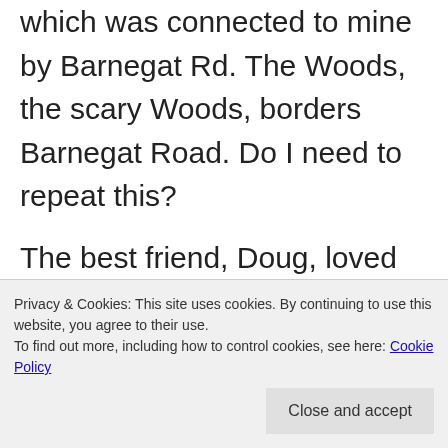which was connected to mine by Barnegat Rd. The Woods, the scary Woods, borders Barnegat Road. Do I need to repeat this?
The best friend, Doug, loved to tell tall tales. Whenever he hosted me for a sleepover there had been a plane crash in The Woods the night before that no one was investigating (there had been no such incident) or a car had plunged down the embankment into The Woods the other night and exploded and the driver got out on fire
Privacy & Cookies: This site uses cookies. By continuing to use this website, you agree to their use.
To find out more, including how to control cookies, see here: Cookie Policy
Doug was five days younger than me and